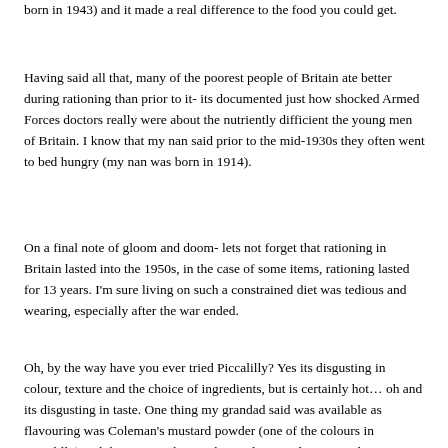born in 1943) and it made a real difference to the food you could get.
Having said all that, many of the poorest people of Britain ate better during rationing than prior to it- its documented just how shocked Armed Forces doctors really were about the nutriently difficient the young men of Britain. I know that my nan said prior to the mid-1930s they often went to bed hungry (my nan was born in 1914).
On a final note of gloom and doom- lets not forget that rationing in Britain lasted into the 1950s, in the case of some items, rationing lasted for 13 years. I'm sure living on such a constrained diet was tedious and wearing, especially after the war ended.
Oh, by the way have you ever tried Piccalilly? Yes its disgusting in colour, texture and the choice of ingredients, but is certainly hot… oh and its disgusting in taste. One thing my grandad said was available as flavouring was Coleman's mustard powder (one of the colours in Piccalilly) and this is something to be used sparingly as its as hot as a chilli.